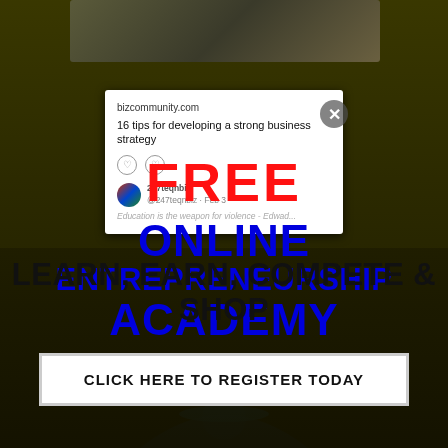[Figure (screenshot): Dark olive/army green background with a social media post screenshot (bizcommunity.com article preview) and overlaid promotional popup for Free Online Entrepreneurship Academy]
bizcommunity.com
16 tips for developing a strong business strategy
FREE
ONLINE ENTREPRENEURSHIP ACADEMY
LEARN, EARN, COMPETE & SHOP
CLICK HERE TO REGISTER TODAY